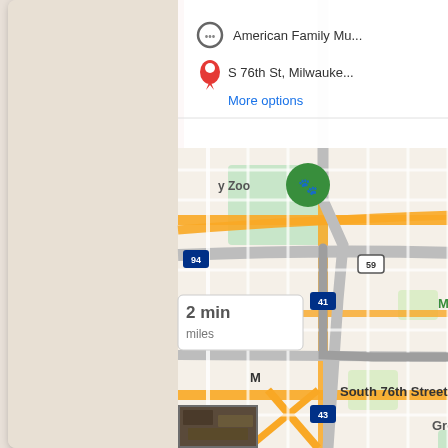[Figure (map): Google Maps screenshot showing a driving route in Milwaukee, WI. A blue highlighted route runs through the city. A popup shows '12 min, 5.1 miles'. Another route option shows '2 min, miles'. Destination marker at South 76th Street with a red pin. Map shows landmarks: y Zoo, McCarty Park, Aurora Med, Greenfield. Route numbers visible: 94, 41, 18, 307B, 59, 43, 24. Zoom controls (+/-) visible at bottom right. Google logo at bottom center. Satellite thumbnail at bottom left.]
S 76th St, Milwauke...
More options